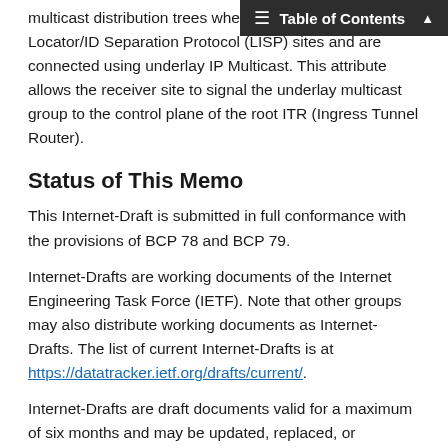Table of Contents
multicast distribution trees where located in different Locator/ID Separation Protocol (LISP) sites and are connected using underlay IP Multicast. This attribute allows the receiver site to signal the underlay multicast group to the control plane of the root ITR (Ingress Tunnel Router).
Status of This Memo
This Internet-Draft is submitted in full conformance with the provisions of BCP 78 and BCP 79.
Internet-Drafts are working documents of the Internet Engineering Task Force (IETF). Note that other groups may also distribute working documents as Internet-Drafts. The list of current Internet-Drafts is at https://datatracker.ietf.org/drafts/current/.
Internet-Drafts are draft documents valid for a maximum of six months and may be updated, replaced, or obsoleted by other documents at any time. It is inappropriate to use